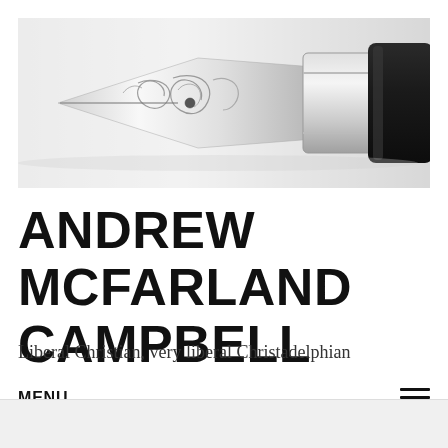[Figure (photo): Close-up macro photograph of a silver fountain pen nib with ornate engraved scrollwork patterns, against a white background. The black barrel of the pen is visible on the right side.]
ANDREW MCFARLAND CAMPBELL
Liberal Christian, very liberal Christadelphian
MENU